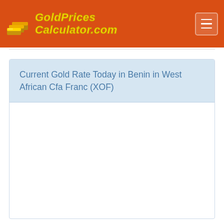GoldPrices Calculator.com
Current Gold Rate Today in Benin in West African Cfa Franc (XOF)